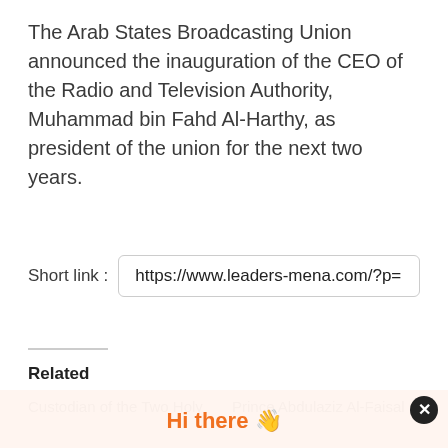The Arab States Broadcasting Union announced the inauguration of the CEO of the Radio and Television Authority, Muhammad bin Fahd Al-Harthy, as president of the union for the next two years.
Short link : https://www.leaders-mena.com/?p=
Related
Custodian of the Two Holy
Prince Abdulaziz Al-Faisal
Hi there 👋
Sign up to receive awesome content in your inbox, every month.
Email Address *